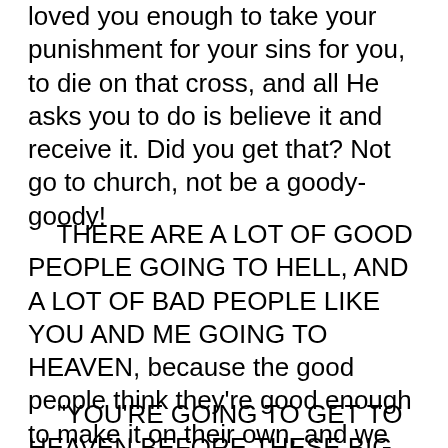loved you enough to take your punishment for your sins for you, to die on that cross, and all He asks you to do is believe it and receive it. Did you get that? Not go to church, not be a goody-goody!
THERE ARE A LOT OF GOOD PEOPLE GOING TO HELL, AND A LOT OF BAD PEOPLE LIKE YOU AND ME GOING TO HEAVEN, because the good people think they're good enough to make it on their own, and we know we've got to have God to help us. We've got to have Jesus Christ! So Jesus turned around and He told a bunch of hippies like you, and drunks and harlots and publicans and sinners, and He said,
"YOU'RE GOING TO GET TO HEAVEN BEFORE THESE BIG CHURCH LEADERS